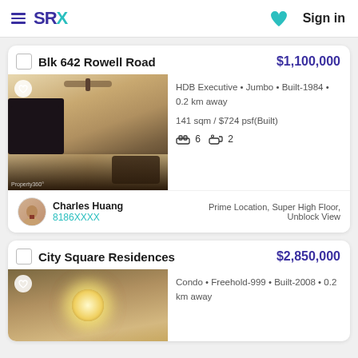SRX — Sign in
Blk 642 Rowell Road — $1,100,000
[Figure (photo): Interior photo of a living room with ceiling fan, TV, sofa, wooden flooring]
HDB Executive • Jumbo • Built-1984 • 0.2 km away
141 sqm / $724 psf(Built)
Beds: 6  Baths: 2
Charles Huang 8186XXXX — Prime Location, Super High Floor, Unblock View
City Square Residences — $2,850,000
[Figure (photo): Interior ceiling photo of a condo unit with ceiling light]
Condo • Freehold-999 • Built-2008 • 0.2 km away